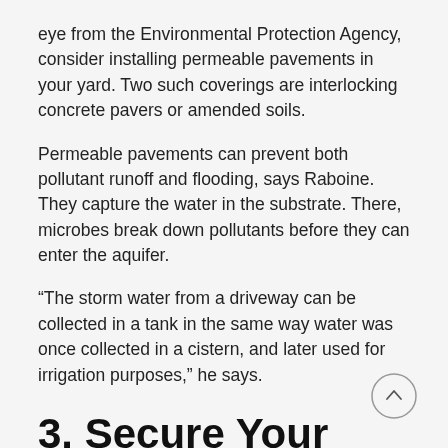eye from the Environmental Protection Agency, consider installing permeable pavements in your yard. Two such coverings are interlocking concrete pavers or amended soils.
Permeable pavements can prevent both pollutant runoff and flooding, says Raboine. They capture the water in the substrate. There, microbes break down pollutants before they can enter the aquifer.
“The storm water from a driveway can be collected in a tank in the same way water was once collected in a cistern, and later used for irrigation purposes,” he says.
3. Secure Your Yard from High Winds
[Figure (other): Circular scroll-to-top button with upward arrow icon]